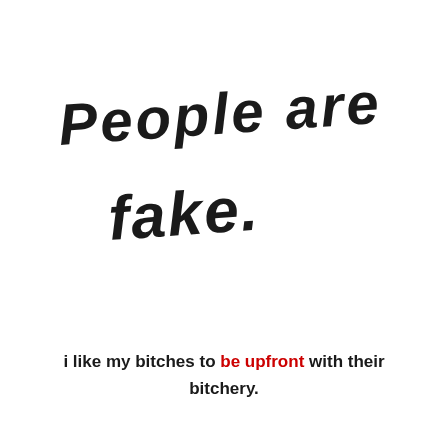[Figure (illustration): Handwritten text in large black marker strokes reading 'People are so fake.' across two lines]
i like my bitches to be upfront with their bitchery.